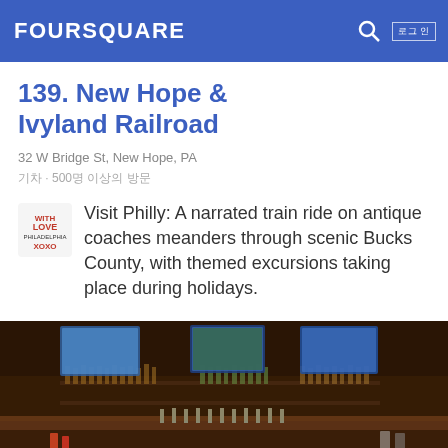FOURSQUARE
139. New Hope & Ivyland Railroad
32 W Bridge St, New Hope, PA
기차 · 500명 이상의 방문
Visit Philly: A narrated train ride on antique coaches meanders through scenic Bucks County, with themed excursions taking place during holidays.
[Figure (photo): Interior of a bar with multiple TV screens showing sports, dark decor, and shelves of liquor bottles behind the bar counter.]